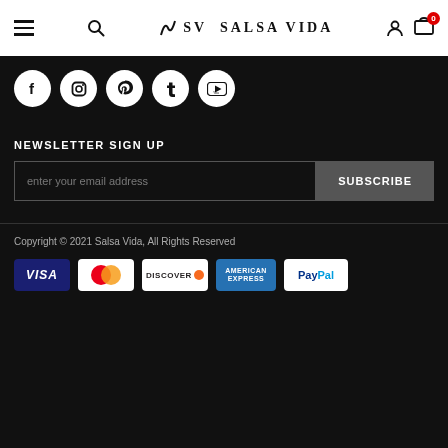SV SALSA VIDA — navigation header with menu, search, logo, account, cart (0)
[Figure (infographic): Five social media icons in white circles on dark background: Facebook, Instagram, Pinterest, Tumblr, YouTube]
NEWSLETTER SIGN UP
enter your email address [input field] SUBSCRIBE [button]
Copyright © 2021 Salsa Vida, All Rights Reserved
[Figure (infographic): Payment method logos: Visa, MasterCard, Discover, American Express, PayPal]